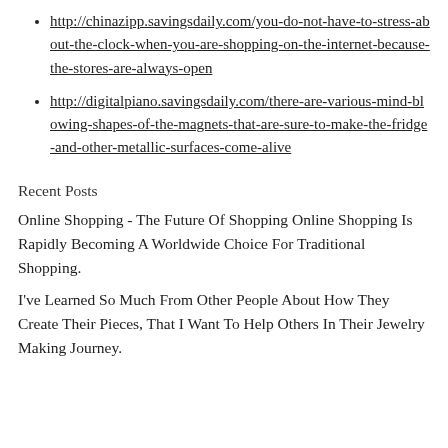http://chinazipp.savingsdaily.com/you-do-not-have-to-stress-about-the-clock-when-you-are-shopping-on-the-internet-because-the-stores-are-always-open
http://digitalpiano.savingsdaily.com/there-are-various-mind-blowing-shapes-of-the-magnets-that-are-sure-to-make-the-fridge-and-other-metallic-surfaces-come-alive
Recent Posts
Online Shopping - The Future Of Shopping Online Shopping Is Rapidly Becoming A Worldwide Choice For Traditional Shopping.
I've Learned So Much From Other People About How They Create Their Pieces, That I Want To Help Others In Their Jewelry Making Journey.